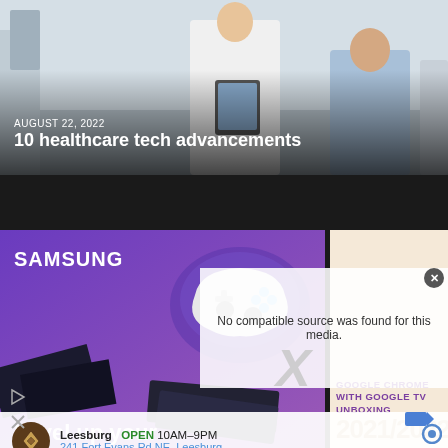[Figure (photo): Healthcare scene: doctor in white coat holding tablet, patient in blue shirt seated, medical/clinical setting background]
AUGUST 22, 2022
10 healthcare tech advancements
[Figure (photo): Samsung advertisement showing gaming controller (PS5 DualSense), SSD storage devices, purple background, 'Level up your' text at bottom]
[Figure (screenshot): Video player error message overlay: 'No compatible source was found for this media.' with close X button]
[Figure (infographic): Right side panel: Google Chrome with Google TV Unboxing 2021/2022 promotional card with gold/beige background and purple text]
Leesburg   OPEN 10AM–9PM
241 Fort Evans Rd NE, Leesburg
[Figure (logo): Leesburg circular logo with gold diamond/arrow symbol on brown background]
[Figure (other): Navigation direction icons (blue arrow and circular icon) bottom right]
[Figure (other): Ad indicator arrows (play/close) bottom left]